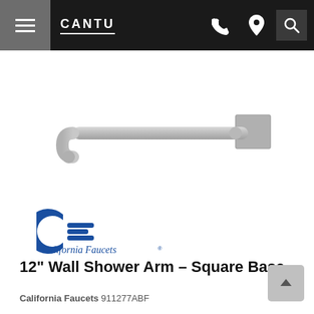CANTU — navigation bar with hamburger menu, phone, location, and search icons
[Figure (photo): A 12-inch wall shower arm with square base mounting plate, shown in a brushed nickel / stainless steel finish, extending horizontally from right to left with a downward curve at the left end.]
[Figure (logo): California Faucets logo — blue stylized C and E letterforms with horizontal lines, and italic blue text reading 'California Faucets']
12" Wall Shower Arm – Square Base
California Faucets 911277ABF